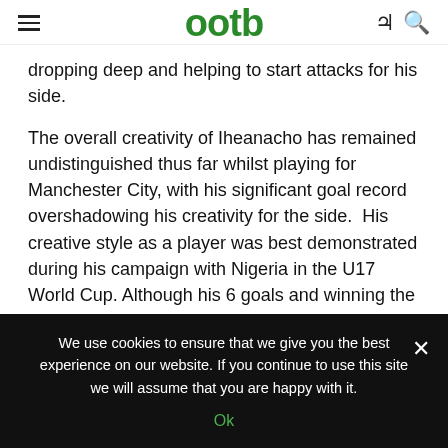ootb
dropping deep and helping to start attacks for his side.
The overall creativity of Iheanacho has remained undistinguished thus far whilst playing for Manchester City, with his significant goal record overshadowing his creativity for the side.  His creative style as a player was best demonstrated during his campaign with Nigeria in the U17 World Cup. Although his 6 goals and winning the Player of the Tournament have been predominantly known
We use cookies to ensure that we give you the best experience on our website. If you continue to use this site we will assume that you are happy with it. Ok